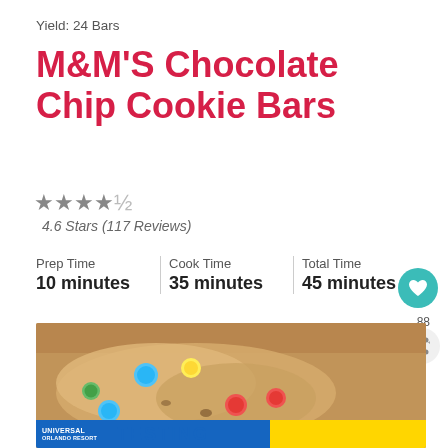Yield: 24 Bars
M&M'S Chocolate Chip Cookie Bars
★★★★½ 4.6 Stars (117 Reviews)
Prep Time 10 minutes | Cook Time 35 minutes | Total Time 45 minutes
[Figure (photo): Close-up photo of M&M's Chocolate Chip Cookie Bars with colorful M&M candies visible on top, with a 'What's Next: Chocolate Chip Cookies' overlay and a Universal Orlando Resort advertisement banner at the bottom]